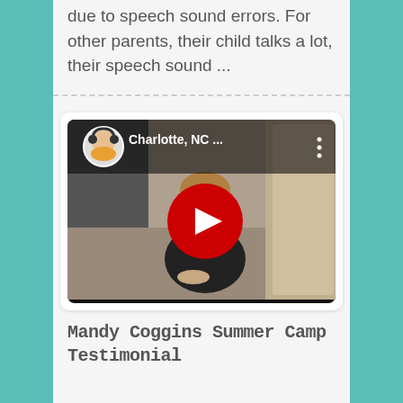due to speech sound errors. For other parents, their child talks a lot, their speech sound ...
[Figure (screenshot): YouTube video embed showing a woman sitting in a room, with the title 'Charlotte, NC ...' and a red YouTube play button in the center. A circular profile thumbnail of a child is shown in the upper left corner.]
Mandy Coggins Summer Camp Testimonial